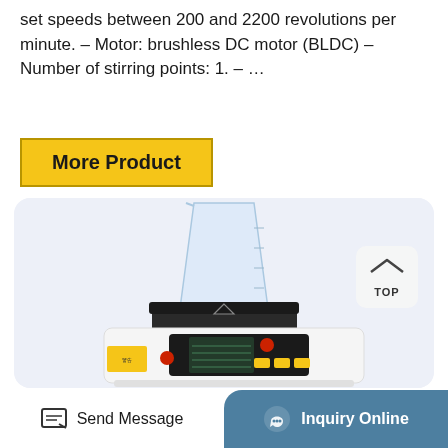set speeds between 200 and 2200 revolutions per minute. – Motor: brushless DC motor (BLDC) – Number of stirring points: 1. – …
[Figure (other): Yellow 'More Product' button with bold black text and dark yellow border]
[Figure (photo): Photo of a laboratory magnetic stirrer/hotplate device with a clear beaker on top, a black square heating/stirring plate, white body, digital display panel, red buttons, and yellow control buttons. Set against a light blue-gray rounded rectangle background. A 'TOP' navigation button appears in the upper right area.]
[Figure (other): Bottom navigation bar with 'Send Message' button on the left (white background, dark icon) and 'Inquiry Online' button on the right (teal/blue background, white headset icon and text)]